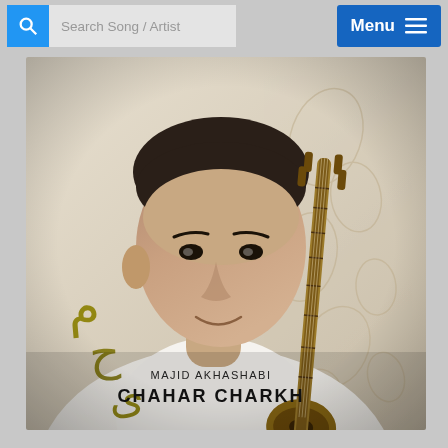Search Song / Artist | Menu
[Figure (photo): Album cover for Majid Akhashabi - Chahar Charkh. A man in a white shirt holds a tar (Persian string instrument). Persian calligraphy in gold/olive color on the left side reads the artist name. Text reads 'MAJID AKHASHABI' and 'CHAHAR CHARKH' in black. Background has abstract line drawings.]
MAJID AKHASHABI
CHAHAR CHARKH